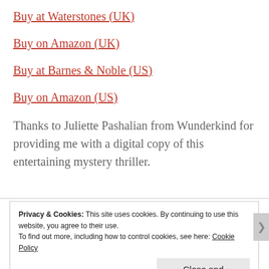Buy at Waterstones (UK)
Buy on Amazon (UK)
Buy at Barnes & Noble (US)
Buy on Amazon (US)
Thanks to Juliette Pashalian from Wunderkind for providing me with a digital copy of this entertaining mystery thriller.
Privacy & Cookies: This site uses cookies. By continuing to use this website, you agree to their use. To find out more, including how to control cookies, see here: Cookie Policy
Close and accept